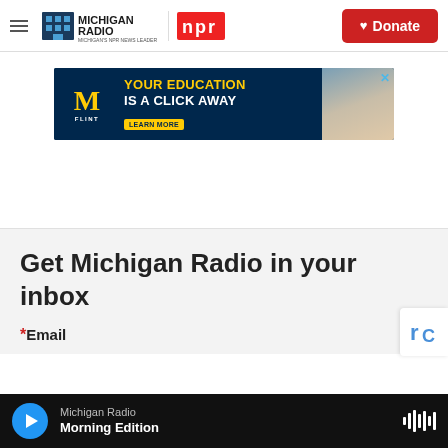Michigan Radio / NPR — Donate
[Figure (other): University of Michigan Flint advertisement banner: 'YOUR EDUCATION IS A CLICK AWAY' with LEARN MORE button and photo of student]
Get Michigan Radio in your inbox
*Email
Michigan Radio — Morning Edition (player bar)